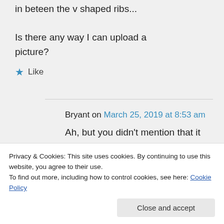in beteen the v shaped ribs...
Is there any way I can upload a picture?
Like
Bryant on March 25, 2019 at 8:53 am
Ah, but you didn't mention that it was made in England. Depending on your definition of modern and
Privacy & Cookies: This site uses cookies. By continuing to use this website, you agree to their use.
To find out more, including how to control cookies, see here: Cookie Policy
Close and accept